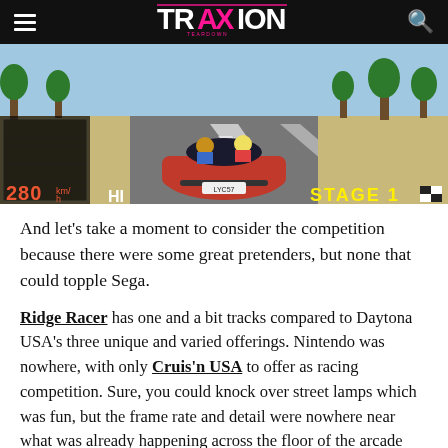Traxion [logo]
[Figure (screenshot): Daytona USA arcade racing game screenshot showing a red sports car on a highway road with palm trees, a speed display of 280 km/h, HI label, and STAGE 1 indicator. A map/minimap is visible in the top left corner.]
And let's take a moment to consider the competition because there were some great pretenders, but none that could topple Sega.
Ridge Racer has one and a bit tracks compared to Daytona USA's three unique and varied offerings. Nintendo was nowhere, with only Cruis'n USA to offer as racing competition. Sure, you could knock over street lamps which was fun, but the frame rate and detail were nowhere near what was already happening across the floor of the arcade